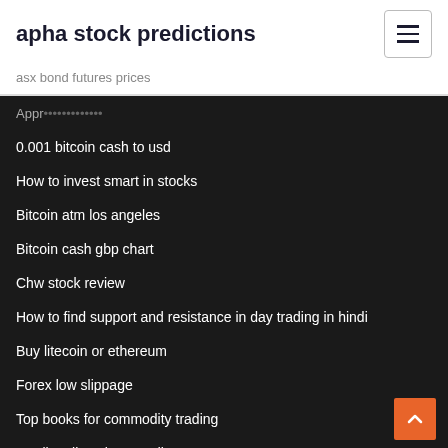apha stock predictions
asx bond futures prices
Appr... (partially visible)
0.001 bitcoin cash to usd
How to invest smart in stocks
Bitcoin atm los angeles
Bitcoin cash gbp chart
Chw stock review
How to find support and resistance in day trading in hindi
Buy litecoin or ethereum
Forex low slippage
Top books for commodity trading
Goojit online share trading